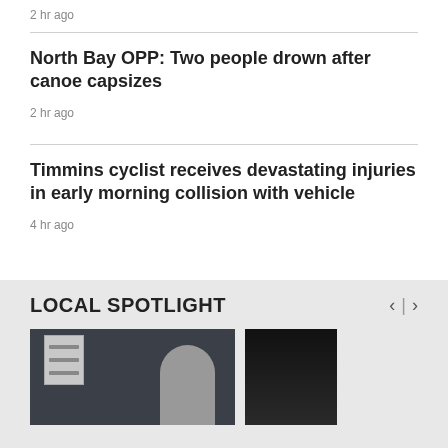2 hr ago
North Bay OPP: Two people drown after canoe capsizes
2 hr ago
Timmins cyclist receives devastating injuries in early morning collision with vehicle
4 hr ago
LOCAL SPOTLIGHT
[Figure (photo): Local spotlight photo 1: Person standing near a sign display board]
[Figure (photo): Local spotlight photo 2: Dark image with people visible]